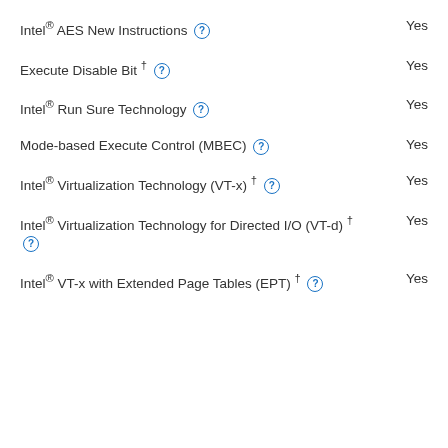Intel® AES New Instructions  Yes
Execute Disable Bit †  Yes
Intel® Run Sure Technology  Yes
Mode-based Execute Control (MBEC)  Yes
Intel® Virtualization Technology (VT-x) †  Yes
Intel® Virtualization Technology for Directed I/O (VT-d) †  Yes
Intel® VT-x with Extended Page Tables (EPT) †  Yes